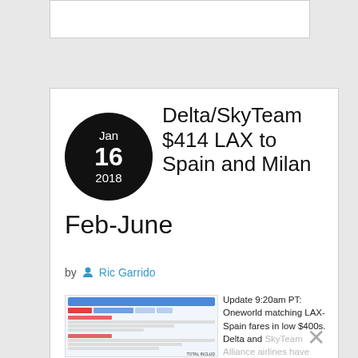Delta/SkyTeam $414 LAX to Spain and Milan Feb-June
by Ric Garrido
[Figure (screenshot): Booking screenshot showing flight details from LAX to Madrid/Spain and return flight details with fare information]
Update 9:20am PT: Oneworld matching LAX-Spain fares in low $400s. Delta and SkyTeam Alliance airlines have several